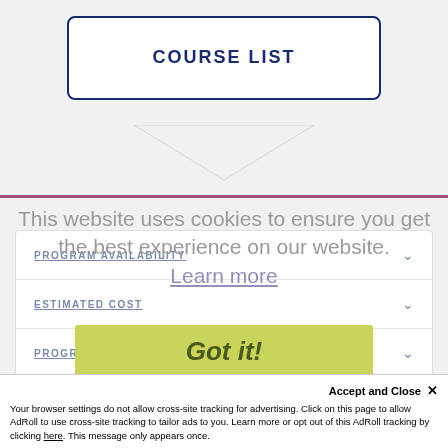COURSE LIST
This website uses cookies to ensure you get the best experience on our website. Learn more
PROGRAM AVAILABILITY
ESTIMATED COST
Got it!
PROGRAM OUTCOMES
Accept and Close ×
Your browser settings do not allow cross-site tracking for advertising. Click on this page to allow AdRoll to use cross-site tracking to tailor ads to you. Learn more or opt out of this AdRoll tracking by clicking here. This message only appears once.